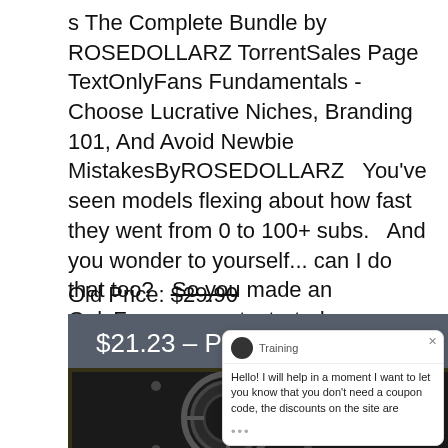s The Complete Bundle by ROSEDOLLARZ TorrentSales Page TextOnlyFans Fundamentals - Choose Lucrative Niches, Branding 101, And Avoid Newbie MistakesByROSEDOLLARZ   You've seen models flexing about how fast they went from 0 to 100+ subs.   And you wonder to yourself... can I do that too?   So you made an OnlyFans account, started advertising... ...then you...
Old Price: $29.90
$21.23 – Purchase
[Figure (screenshot): Decorative image of a vault/safe with neon yellow lighting and stylized text in the background]
Training
Hello! I will help in a moment I want to let you know that you don't need a coupon code, the discounts on the site are
...